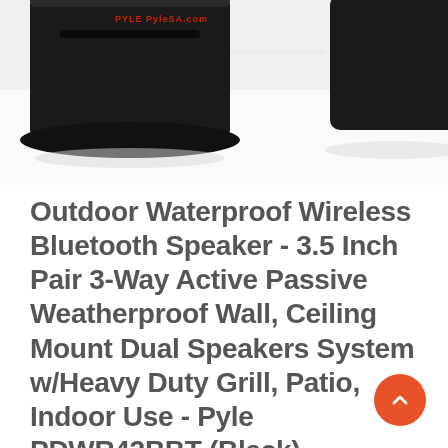[Figure (photo): Product photo of Pyle PDWR42BBT black outdoor Bluetooth speakers, showing two black rectangular speakers with Pyle logo on white/light grey background, cropped at top]
Outdoor Waterproof Wireless Bluetooth Speaker - 3.5 Inch Pair 3-Way Active Passive Weatherproof Wall, Ceiling Mount Dual Speakers System w/Heavy Duty Grill, Patio, Indoor Use - Pyle PDWR42BBT (Black)